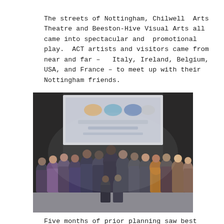The streets of Nottingham, Chilwell Arts Theatre and Beeston-Hive Visual Arts all came into spectacular and promotional play. ACT artists and visitors came from near and far – Italy, Ireland, Belgium, USA, and France – to meet up with their Nottingham friends.
[Figure (photo): Group photo of people standing in front of a projection screen with logos, taken indoors. A large crowd of approximately 20-25 people of diverse backgrounds posing together.]
Five months of prior planning saw best